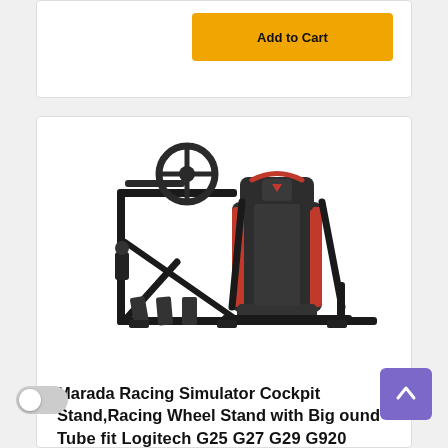[Figure (screenshot): Partial e-commerce product card with a yellow Add to Cart button visible at top right]
[Figure (photo): Racing simulator cockpit stand with black metal frame, steering wheel mount, pedals, gear shifter, and a black-and-red racing seat]
Marada Racing Simulator Cockpit Stand,Racing Wheel Stand with Big ound Tube fit Logitech G25 G27 G29 G920 G923 Thrustmaster